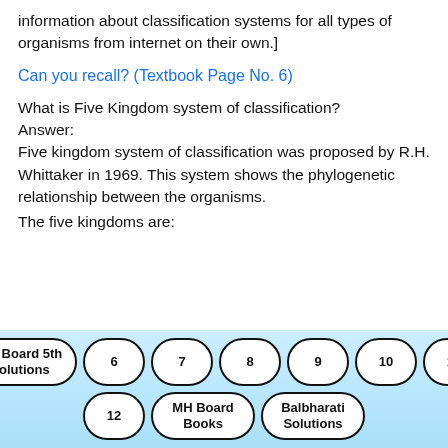information about classification systems for all types of organisms from internet on their own.]
Can you recall? (Textbook Page No. 6)
What is Five Kingdom system of classification?
Answer:
Five kingdom system of classification was proposed by R.H. Whittaker in 1969. This system shows the phylogenetic relationship between the organisms.
The five kingdoms are:
MH Board 5th Solutions  6  7  8  9  10  11  12  MH Board Books  Balbharati Solutions